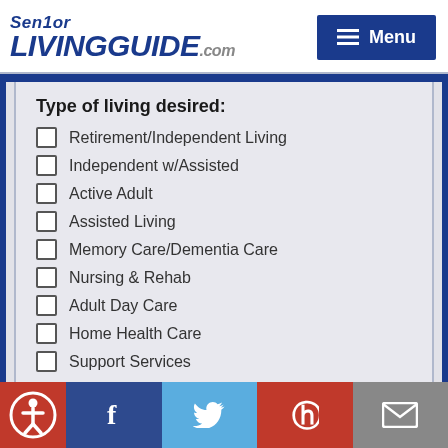SeniorLIVINGGUIDE.com — Menu
Type of living desired:
Retirement/Independent Living
Independent w/Assisted
Active Adult
Assisted Living
Memory Care/Dementia Care
Nursing & Rehab
Adult Day Care
Home Health Care
Support Services
Accessibility | Facebook | Twitter | Pinterest | Mail